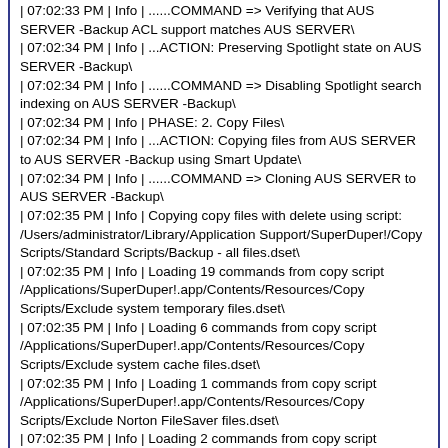| 07:02:33 PM | Info | ......COMMAND => Verifying that AUS SERVER -Backup ACL support matches AUS SERVER\
| 07:02:34 PM | Info | ...ACTION: Preserving Spotlight state on AUS SERVER -Backup\
| 07:02:34 PM | Info | ......COMMAND => Disabling Spotlight search indexing on AUS SERVER -Backup\
| 07:02:34 PM | Info | PHASE: 2. Copy Files\
| 07:02:34 PM | Info | ...ACTION: Copying files from AUS SERVER to AUS SERVER -Backup using Smart Update\
| 07:02:34 PM | Info | ......COMMAND => Cloning AUS SERVER to AUS SERVER -Backup\
| 07:02:35 PM | Info | Copying copy files with delete using script: /Users/administrator/Library/Application Support/SuperDuper!/Copy Scripts/Standard Scripts/Backup - all files.dset\
| 07:02:35 PM | Info | Loading 19 commands from copy script /Applications/SuperDuper!.app/Contents/Resources/Copy Scripts/Exclude system temporary files.dset\
| 07:02:35 PM | Info | Loading 6 commands from copy script /Applications/SuperDuper!.app/Contents/Resources/Copy Scripts/Exclude system cache files.dset\
| 07:02:35 PM | Info | Loading 1 commands from copy script /Applications/SuperDuper!.app/Contents/Resources/Copy Scripts/Exclude Norton FileSaver files.dset\
| 07:02:35 PM | Info | Loading 2 commands from copy script /Applications/SuperDuper!.app/Contents/Resources/Copy Scripts/Exclude Spotlight search index.dset\
| 07:02:35 PM | Info | Loading 0 commands from copy script /Users/administrator/Library/Application Support/SuperDuper!/Copy Scripts/Standard Scripts/Backup - all files.dset\